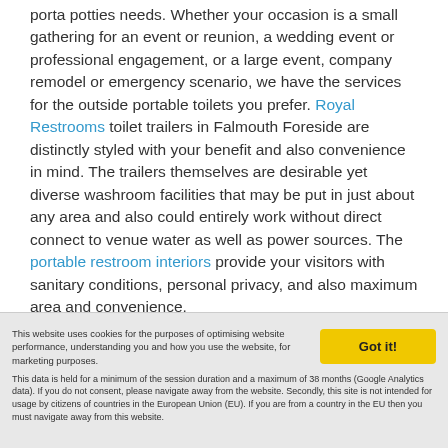porta potties needs. Whether your occasion is a small gathering for an event or reunion, a wedding event or professional engagement, or a large event, company remodel or emergency scenario, we have the services for the outside portable toilets you prefer. Royal Restrooms toilet trailers in Falmouth Foreside are distinctly styled with your benefit and also convenience in mind. The trailers themselves are desirable yet diverse washroom facilities that may be put in just about any area and also could entirely work without direct connect to venue water as well as power sources. The portable restroom interiors provide your visitors with sanitary conditions, personal privacy, and also maximum area and convenience.
This website uses cookies for the purposes of optimising website performance, understanding you and how you use the website, for marketing purposes. This data is held for a minimum of the session duration and a maximum of 38 months (Google Analytics data). If you do not consent, please navigate away from the website. Secondly, this site is not intended for usage by citizens of countries in the European Union (EU). If you are from a country in the EU then you must navigate away from this website.